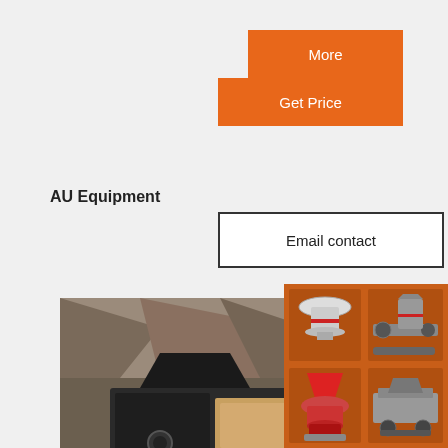More
Get Price
AU Equipment
Email contact
LL
[Figure (photo): Mobile jaw crusher / rock crushing machine on tracks at a quarry site]
[Figure (photo): Yellow excavator operating next to a large blue mobile crusher/screening machine in a quarry]
[Figure (photo): Advertisement sidebar showing multiple mining/crushing machines, discount offer, and contact details]
Enjoy 3% discount
Click to Chat
Enquiry
limingjlmofen@sina.com